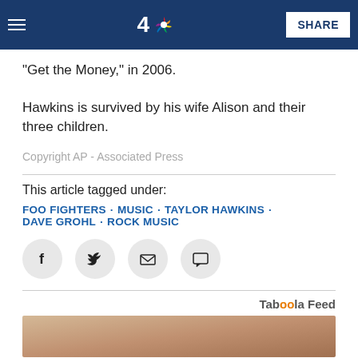NBC 4 - SHARE
He also co-formed and starred in the side project the Taylor Hawkins and the Coattails. They released an album, "Get the Money," in 2006.
Hawkins is survived by his wife Alison and their three children.
Copyright AP - Associated Press
This article tagged under:
FOO FIGHTERS · MUSIC · TAYLOR HAWKINS · DAVE GROHL · ROCK MUSIC
[Figure (other): Social sharing icons: Facebook, Twitter, Email, Comment]
Taboola Feed
[Figure (photo): Partial image of a person, cut off at bottom of page]